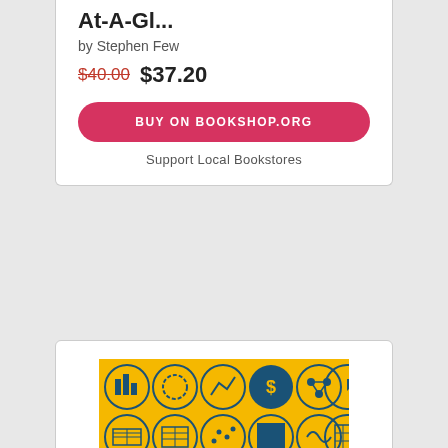At-A-Gl...
by Stephen Few
$40.00 $37.20
BUY ON BOOKSHOP.ORG
Support Local Bookstores
[Figure (photo): Book cover of 'Better Data Visualizations: A Guide for Scholars, Researchers, and Wonks' by Jonathan Schwabish. Yellow background with a blue title band and a grid of circular data visualization icons.]
Better Data Visualizations: A Guide for Scholars,